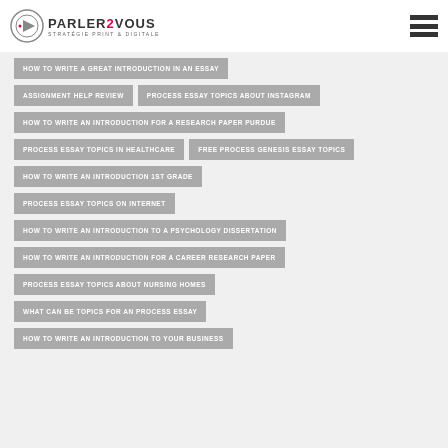PARLER2VOUS STRATÉGIE PRINT & DIGITALE
HOW TO WRITE A GREAT INTRODUCTION IN AN ESSAY
ASSIGNMENT HELP REVIEW
PROCESS ESSAY TOPICS ABOUT INSTAGRAM
HOW TO WRITE AN INTRODUCTION FOR A RESEARCH PAPER PURDUE
PROCESS ESSAY TOPICS IN HEALTHCARE
FREE PROCESS GENESIS ESSAY TOPICS
HOW TO WRITE AN INTRODUCTION 1ST GRADE
PROCESS ESSAY TOPICS ON INTERNET
HOW TO WRITE AN INTRODUCTION TO A PSYCHOLOGY DISSERTATION
HOW TO WRITE AN INTRODUCTION FOR A CAREER RESEARCH PAPER
PROCESS ESSAY TOPICS ABOUT NURSING HOMES
WHAT CAN BE TOPICS FOR AN PROCESS ESSAY
HOW TO WRITE AN INTRODUCTION TO YOUR BUSINESS